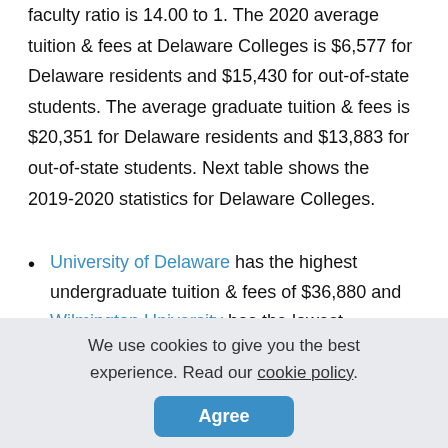faculty ratio is 14.00 to 1. The 2020 average tuition & fees at Delaware Colleges is $6,577 for Delaware residents and $15,430 for out-of-state students. The average graduate tuition & fees is $20,351 for Delaware residents and $13,883 for out-of-state students. Next table shows the 2019-2020 statistics for Delaware Colleges.
University of Delaware has the highest undergraduate tuition & fees of $36,880 and Wilmington University has the lowest undergraduate costs of $11,760.
We use cookies to give you the best experience. Read our cookie policy.